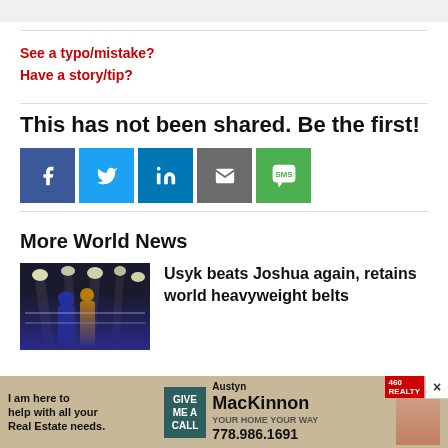See a typo/mistake?
Have a story/tip?
This has not been shared. Be the first!
[Figure (infographic): Social share buttons: Facebook, Twitter, LinkedIn, Email, SMS]
More World News
[Figure (photo): Boxing match photo showing two fighters in a ring with arena lights above]
Usyk beats Joshua again, retains world heavyweight belts
[Figure (infographic): Advertisement banner: I am here to help with all your Real Estate needs. GIVE ME A CALL. Austyn MacKinnon 778.986.1691]